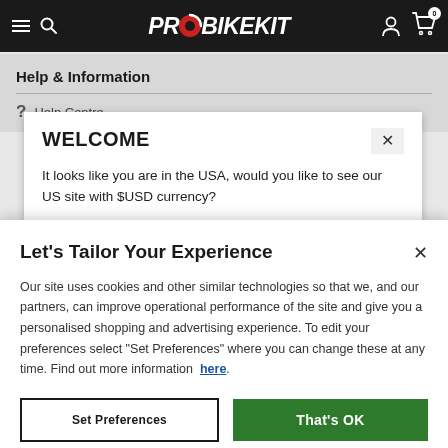[Figure (screenshot): ProBikeKit website navigation bar with hamburger menu, search icon, logo, person icon, and cart icon with badge showing 0]
Help & Information
Help Centre
WELCOME
It looks like you are in the USA, would you like to see our US site with $USD currency?
Let's Tailor Your Experience
Our site uses cookies and other similar technologies so that we, and our partners, can improve operational performance of the site and give you a personalised shopping and advertising experience. To edit your preferences select "Set Preferences" where you can change these at any time. Find out more information  here.